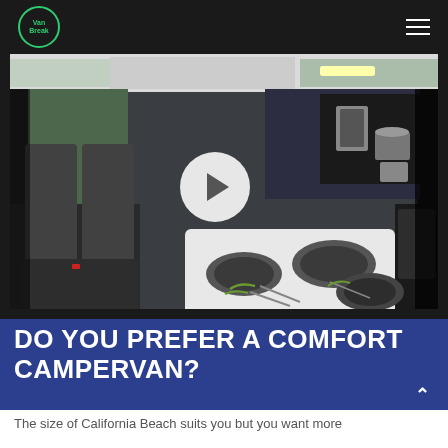Van Break logo and navigation menu
[Figure (photo): Interior of a campervan showing rear bench seats on the left, a white folding table set with dark plates and cutlery in the center, and a kitchen area with stove and cookware on the right. A video play button overlay is centered on the image.]
DO YOU PREFER A COMFORT CAMPERVAN?
The size of California Beach suits you but you want more